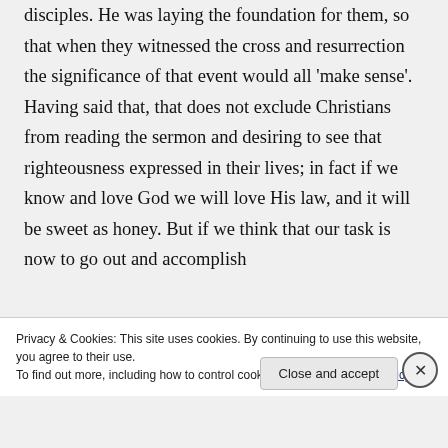disciples. He was laying the foundation for them, so that when they witnessed the cross and resurrection the significance of that event would all 'make sense'. Having said that, that does not exclude Christians from reading the sermon and desiring to see that righteousness expressed in their lives; in fact if we know and love God we will love His law, and it will be sweet as honey. But if we think that our task is now to go out and accomplish
Privacy & Cookies: This site uses cookies. By continuing to use this website, you agree to their use.
To find out more, including how to control cookies, see here: Cookie Policy
Close and accept